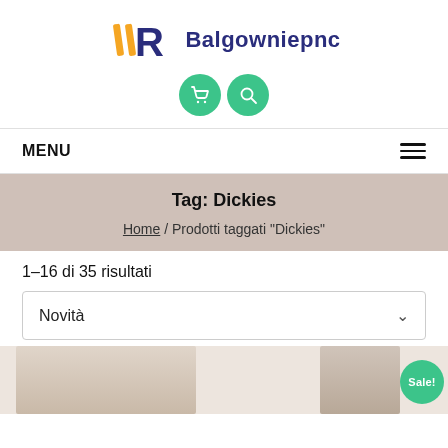[Figure (logo): HR logo with yellow and blue letter shapes and text Balgowniepnc, with two teal circular icon buttons (cart and search)]
MENU
Tag: Dickies
Home / Prodotti taggati “Dickies”
1–16 di 35 risultati
Novità
[Figure (photo): Partial product image showing model wearing khaki pants, with a Sale! badge in teal green]